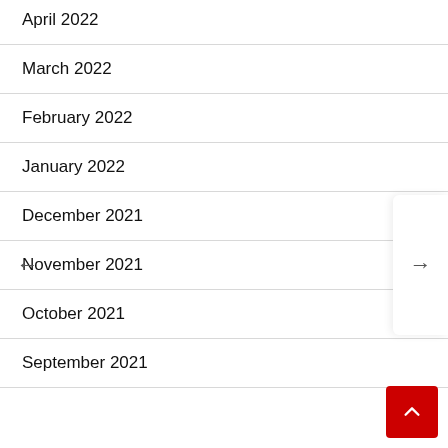April 2022
March 2022
February 2022
January 2022
December 2021
November 2021
October 2021
September 2021